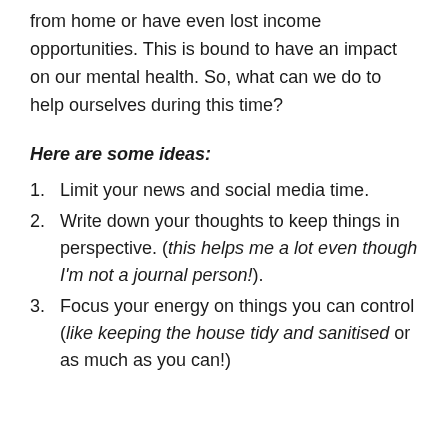from home or have even lost income opportunities. This is bound to have an impact on our mental health. So, what can we do to help ourselves during this time?
Here are some ideas:
Limit your news and social media time.
Write down your thoughts to keep things in perspective. (this helps me a lot even though I'm not a journal person!).
Focus your energy on things you can control (like keeping the house tidy and sanitised or as much as you can!)